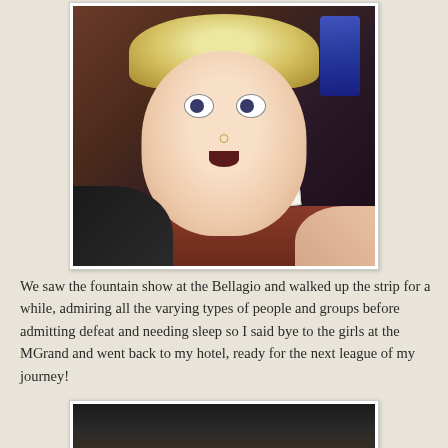[Figure (photo): Woman with blonde hair making a surprised face, holding a Paris Las Vegas casino CASHOUT VOUCHER for $5.00 in a casino setting]
We saw the fountain show at the Bellagio and walked up the strip for a while, admiring all the varying types of people and groups before admitting defeat and needing sleep so I said bye to the girls at the MGrand and went back to my hotel, ready for the next league of my journey!
[Figure (photo): Partial photo, mostly dark/black, appears to be a night scene]